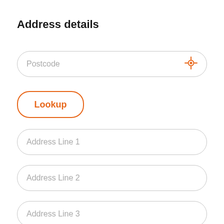Address details
Postcode
Lookup
Address Line 1
Address Line 2
Address Line 3